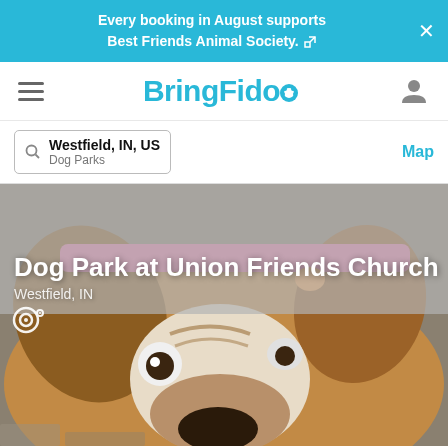Every booking in August supports Best Friends Animal Society.
[Figure (logo): BringFido logo with paw print dot on the 'o']
Westfield, IN, US
Dog Parks
Map
Dog Park at Union Friends Church
Westfield, IN
[Figure (photo): Close-up photo of a brown and white English Bulldog looking up at the camera, wearing a pink collar, standing on a paved surface]